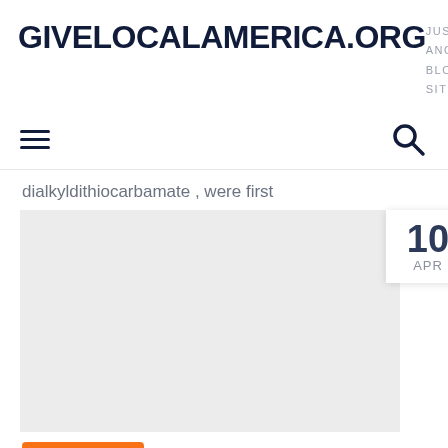GIVELOCALAMERICA.ORG
JUST ANOTHER BLOG SITE
dialkyldithiocarbamate , were first
[Figure (other): Date badge showing 10 APR]
[Figure (photo): Article image placeholder (light gray background)]
[Figure (other): Orange button/link at bottom]